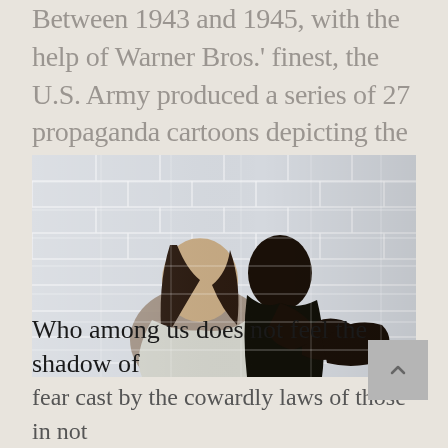Between 1943 and 1945, with the help of Warner Bros.' finest, the U.S. Army produced a series of 27 propaganda cartoons depicting the calamitous adventures of Private Snafu.
[Figure (photo): Two people seated back-to-back against a white tile/brick wall. A woman with long dark hair wearing an off-shoulder light grey top leans back against a shirtless man with very dark skin who sits with knees raised and arms crossed over them, looking upward with eyes closed.]
Who among us does not feel the shadow of fear cast by the cowardly laws of those in not